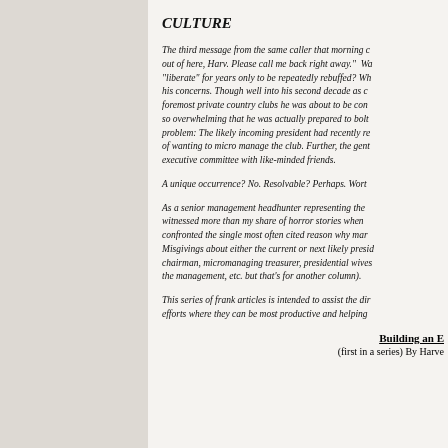CULTURE
The third message from the same caller that morning out of here, Harv. Please call me back right away." Wa "liberate" for years only to be repeatedly rebuffed? Wh his concerns. Though well into his second decade as c foremost private country clubs he was about to be con so overwhelming that he was actually prepared to bolt problem: The likely incoming president had recently re of wanting to micro manage the club. Further, the gent executive committee with like-minded friends.
A unique occurrence? No. Resolvable? Perhaps. Wort
As a senior management headhunter representing the witnessed more than my share of horror stories when confronted the single most often cited reason why mar Misgivings about either the current or next likely presid chairman, micromanaging treasurer, presidential wives the management, etc. but that's for another column).
This series of frank articles is intended to assist the dir efforts where they can be most productive and helping
Building an E
(first in a series) By Harve